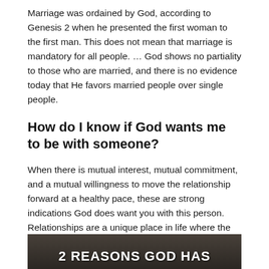Marriage was ordained by God, according to Genesis 2 when he presented the first woman to the first man. This does not mean that marriage is mandatory for all people. … God shows no partiality to those who are married, and there is no evidence today that He favors married people over single people.
How do I know if God wants me to be with someone?
When there is mutual interest, mutual commitment, and a mutual willingness to move the relationship forward at a healthy pace, these are strong indications God does want you with this person. Relationships are a unique place in life where the spiritual and practical combine and are constantly intermingling.
[Figure (photo): Dark photo of a person with bold white text overlay reading '2 REASONS GOD HAS']